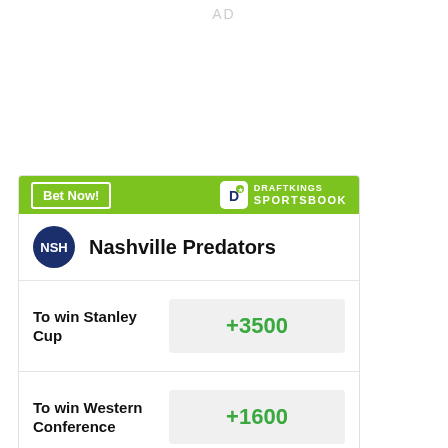AD
| Bet Type | Odds |
| --- | --- |
| To win Stanley Cup | +3500 |
| To win Western Conference | +1600 |
| To win Central | +1000 |